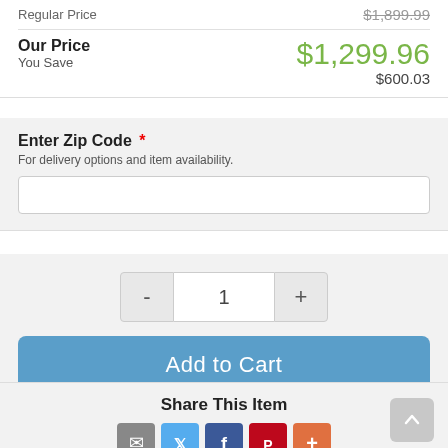Regular Price  $1,899.99
Our Price  $1,299.96
You Save  $600.03
Enter Zip Code *
For delivery options and item availability.
1 (quantity)
Add to Cart
Share This Item
[Figure (infographic): Social share icons: email, Twitter, Facebook, Pinterest, more]